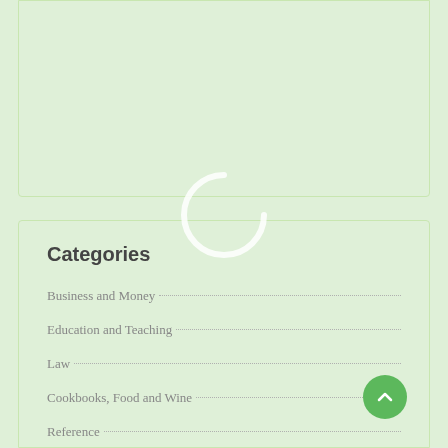[Figure (other): Light green card/panel area at the top of the page, partially visible]
[Figure (other): Loading spinner arc, white partial circle on light green background]
Categories
Business and Money
Education and Teaching
Law
Cookbooks, Food and Wine
Reference
[Figure (other): Green circular scroll-to-top button with upward arrow icon]